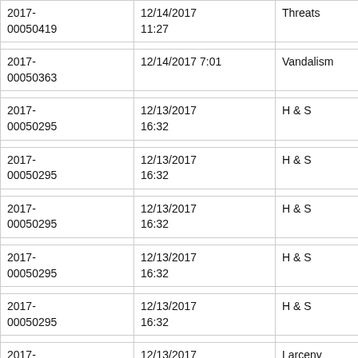| Case Number | Date/Time | Category | Code |
| --- | --- | --- | --- |
| 2017-00050419 | 12/14/2017 11:27 | Threats | TH... CR... |
| 2017-00050363 | 12/14/2017 7:01 | Vandalism | VA... |
| 2017-00050295 | 12/13/2017 16:32 | H & S | DE... EV... |
| 2017-00050295 | 12/13/2017 16:32 | H & S | OB... OR... |
| 2017-00050295 | 12/13/2017 16:32 | H & S | PO... CN... |
| 2017-00050295 | 12/13/2017 16:32 | H & S | Wa... |
| 2017-00050295 | 12/13/2017 16:32 | H & S | NO... LE... |
| 2017-00050248 | 12/13/2017 10:23 | Larceny | GR... |